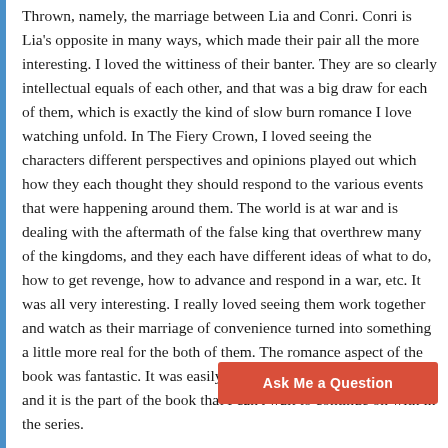Thrown, namely, the marriage between Lia and Conri. Conri is Lia's opposite in many ways, which made their pair all the more interesting. I loved the wittiness of their banter. They are so clearly intellectual equals of each other, and that was a big draw for each of them, which is exactly the kind of slow burn romance I love watching unfold. In The Fiery Crown, I loved seeing the characters different perspectives and opinions played out which how they each thought they should respond to the various events that were happening around them. The world is at war and is dealing with the aftermath of the false king that overthrew many of the kingdoms, and they each have different ideas of what to do, how to get revenge, how to advance and respond in a war, etc. It was all very interesting. I really loved seeing them work together and watch as their marriage of convenience turned into something a little more real for the both of them. The romance aspect of the book was fantastic. It was easily my favorite element of the story and it is the part of the book that I can't wait to continue on with in the series.
The plot didn't capture me as much as the plot of The Orchid Throne did. I felt like not a whole lot happened in this book. I felt like as I was reading, I kept waiting for something big to happen, for the action to start, and it was a very slow build...